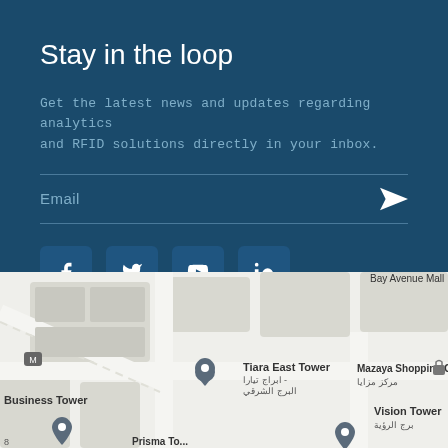Stay in the loop
Get the latest news and updates regarding analytics and RFID solutions directly in your inbox.
[Figure (screenshot): Email subscription form with email input field and send arrow button, followed by social media icons for Facebook, Twitter, YouTube, and LinkedIn]
[Figure (map): Google Maps view showing area with Tiara East Tower, Mazaya Shopping Centre, Vision Tower, Business Tower and other landmarks]